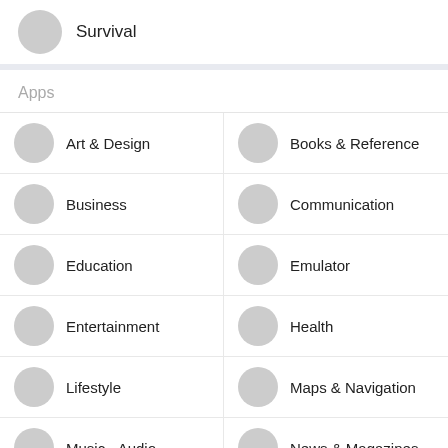Survival
Apps
Art & Design
Books & Reference
Business
Communication
Education
Emulator
Entertainment
Health
Lifestyle
Maps & Navigation
Music - Audio
News & Magazines
Personalization
Photography
Productivity
Social